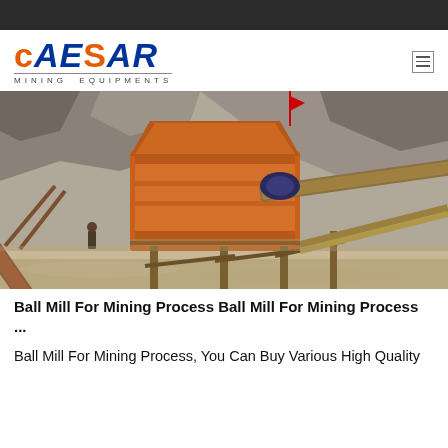[Figure (logo): Caesar Mining Equipments logo with stylized text in blue and orange]
[Figure (photo): Industrial mining equipment with orange conveyor belts and crusher machinery at an open-pit mine site with rocky terrain in background]
Ball Mill For Mining Process Ball Mill For Mining Process ...
Ball Mill For Mining Process, You Can Buy Various High Quality